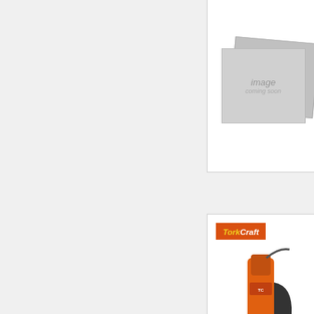[Figure (photo): Product card (top, partially visible): image placeholder 'image coming soon', title 'STROKE 220V ...' in cyan, description '35mm MAGNE... drill is fitted o...' truncated at right edge]
[Figure (photo): Product card (middle): TorkCraft branded magnetic base drill, orange body, model MAG BASE AUT... STROKE 220V N... 55mm MAGNE... drill is fitted o...]
[Figure (photo): Product card (bottom): TorkCraft branded magnetic base drill, orange body, model MAG BASE CO... 16000N 220M... 60mm MAGNE... drill is fitted o...]